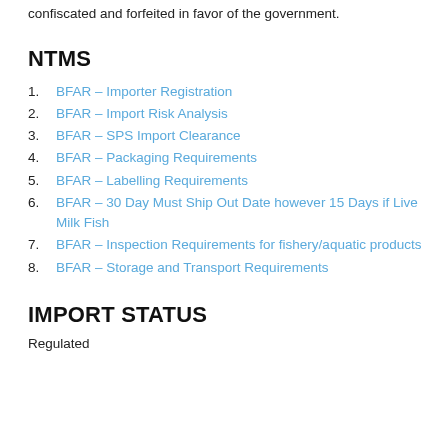confiscated and forfeited in favor of the government.
NTMS
BFAR – Importer Registration
BFAR – Import Risk Analysis
BFAR – SPS Import Clearance
BFAR – Packaging Requirements
BFAR – Labelling Requirements
BFAR – 30 Day Must Ship Out Date however 15 Days if Live Milk Fish
BFAR – Inspection Requirements for fishery/aquatic products
BFAR – Storage and Transport Requirements
IMPORT STATUS
Regulated